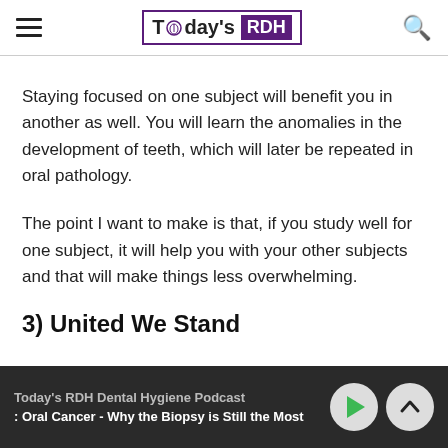Today's RDH
Staying focused on one subject will benefit you in another as well. You will learn the anomalies in the development of teeth, which will later be repeated in oral pathology.
The point I want to make is that, if you study well for one subject, it will help you with your other subjects and that will make things less overwhelming.
3) United We Stand
Today's RDH Dental Hygiene Podcast : Oral Cancer - Why the Biopsy is Still the Most